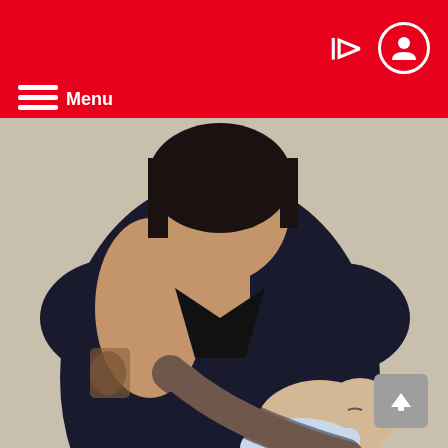Menu
[Figure (photo): A woman in a black dress holding a newborn baby]
HOME   NEWS
SHOCKING! Lady Who Uses £25 Online Kit To Artificially fertilize Herself Gives Birth To A Baby Boy (READ INSIDE LIFE STORY)